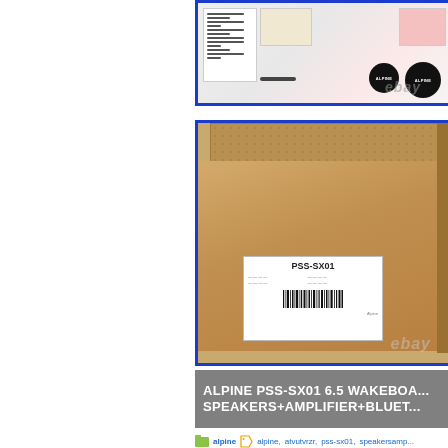[Figure (photo): Product contents photo showing instruction manual papers, beige and pink cards, two black Alpine logo badges, and a small stick item, with eBay watermark overlay, inside blue-bordered frame]
[Figure (photo): Cardboard shipping box with white label reading PSS-SX01 and a barcode, with eBay watermark overlay, inside blue-bordered frame]
ALPINE PSS-SX01 6.5 WAKEBOARD SPEAKERS+AMPLIFIER+BLUET...
alpine | alpine, atvutvrzr, pss-sx01, speakersamp...